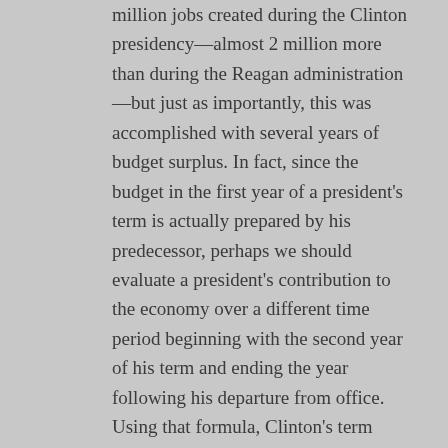million jobs created during the Clinton presidency—almost 2 million more than during the Reagan administration—but just as importantly, this was accomplished with several years of budget surplus. In fact, since the budget in the first year of a president's term is actually prepared by his predecessor, perhaps we should evaluate a president's contribution to the economy over a different time period beginning with the second year of his term and ending the year following his departure from office. Using that formula, Clinton's term would show a cumulative budget surplus of almost $63 billion.
To be fair, much more than tax rates go into creating a surplus or deficit. Certainly,